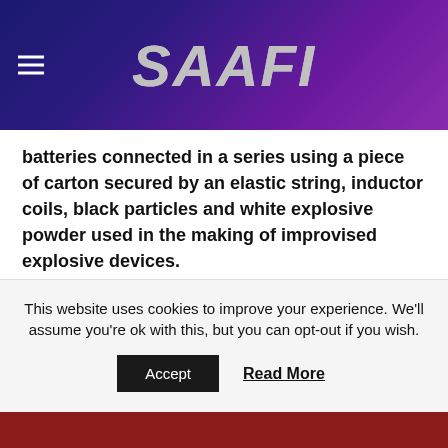SAAFI
batteries connected in a series using a piece of carton secured by an elastic string, inductor coils, black particles and white explosive powder used in the making of improvised explosive devices.
Police said he was found with the materials on March 8, 2019, at Ngomeni in Kwale county.
After spending days in remand, the suspect secured a Sh1.5 million bond with one surety of a similar amount
This website uses cookies to improve your experience. We'll assume you're ok with this, but you can opt-out if you wish.